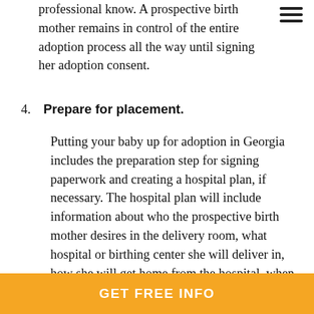professional know. A prospective birth mother remains in control of the entire adoption process all the way until signing her adoption consent.
4. Prepare for placement. Putting your baby up for adoption in Georgia includes the preparation step for signing paperwork and creating a hospital plan, if necessary. The hospital plan will include information about who the prospective birth mother desires in the delivery room, what hospital or birthing center she will deliver in, how she will get home from the hospital, when she will place her baby with the prospective adoptive parents (as long as it’s after the 48-hour waiting period), and more. This plan will be shared with the prospective
GET FREE INFO